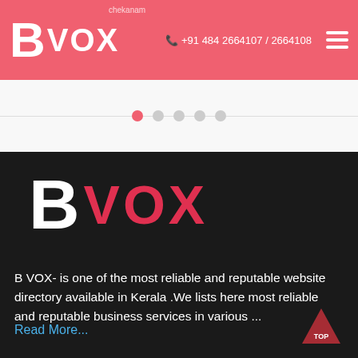B VOX  +91 484 2664107 / 2664108
[Figure (other): Slider dots navigation with 5 dots, first dot active (pink), rest gray]
[Figure (logo): B VOX logo in white and pink/red on dark background]
B VOX- is one of the most reliable and reputable website directory available in Kerala .We lists here most reliable and reputable business services in various ...
Read More...